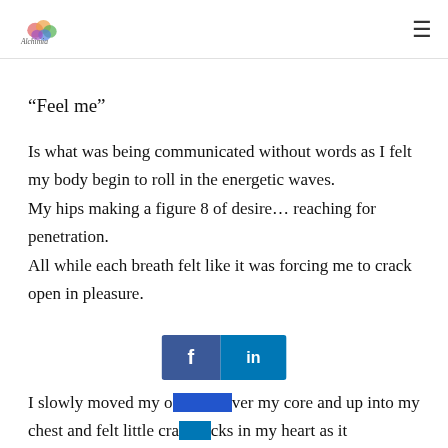[Logo] [Hamburger menu]
“Feel me”
Is what was being communicated without words as I felt my body begin to roll in the energetic waves.
My hips making a figure 8 of desire… reaching for penetration.
All while each breath felt like it was forcing me to crack open in pleasure.
I slowly moved my o[ver] my core and up into my chest and felt little cracks in my heart as it